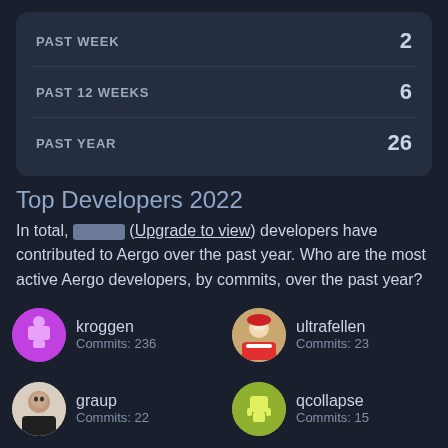| Period | Count |
| --- | --- |
| PAST WEEK | 2 |
| PAST 12 WEEKS | 6 |
| PAST YEAR | 26 |
Top Developers 2022
In total, [redacted] (Upgrade to view) developers have contributed to Aergo over the past year. Who are the most active Aergo developers, by commits, over the past year?
kroggen — Commits: 236
ultrafellen — Commits: 23
graup — Commits: 22
qcollapse — Commits: 15
Fkelv
mattn